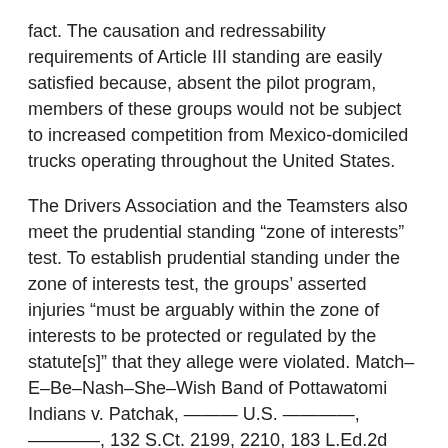fact. The causation and redressability requirements of Article III standing are easily satisfied because, absent the pilot program, members of these groups would not be subject to increased competition from Mexico-domiciled trucks operating throughout the United States.
The Drivers Association and the Teamsters also meet the prudential standing “zone of interests” test. To establish prudential standing under the zone of interests test, the groups’ asserted injuries “must be arguably within the zone of interests to be protected or regulated by the statute[s]” that they allege were violated. Match–E–Be–Nash–She–Wish Band of Pottawatomi Indians v. Patchak, ——— U.S. ————, ————, 132 S.Ct. 2199, 2210, 183 L.Ed.2d 211 (2012) (quotation marks omitted). As the Supreme Court recently emphasized, the prudential standing test “is not meant to be especially demanding.” Id. (quotation marks omitted). It “forecloses suit only when a plaintiff’s interests are so